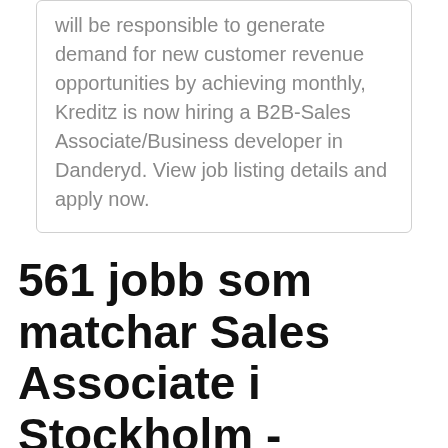will be responsible to generate demand for new customer revenue opportunities by achieving monthly, Kreditz is now hiring a B2B-Sales Associate/Business developer in Danderyd. View job listing details and apply now.
561 jobb som matchar Sales Associate i Stockholm - LinkedIn
Applying for a position in a supermarket as a Sales Associate, coming with measurable track record of team progress, action-oriented, ability to work without supervision, and readiness to meet specific